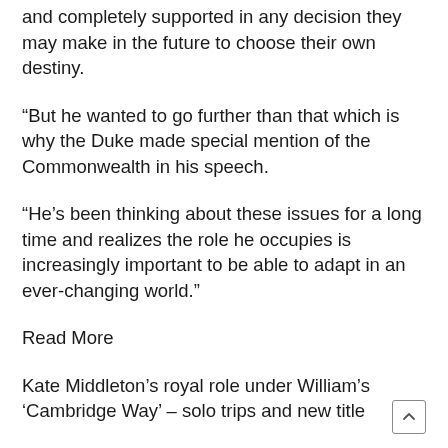and completely supported in any decision they may make in the future to choose their own destiny.
“But he wanted to go further than that which is why the Duke made special mention of the Commonwealth in his speech.
“He’s been thinking about these issues for a long time and realizes the role he occupies is increasingly important to be able to adapt in an ever-changing world.”
Read More
Kate Middleton’s royal role under William’s ‘Cambridge Way’ – solo trips and new title